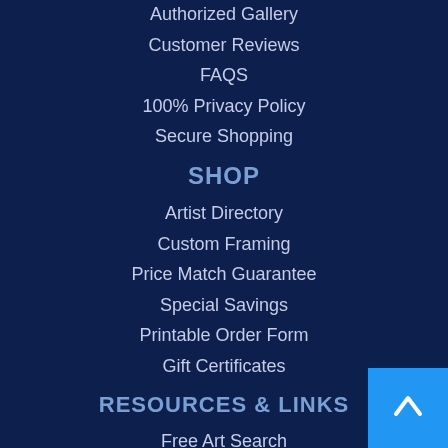Authorized Gallery
Customer Reviews
FAQS
100% Privacy Policy
Secure Shopping
SHOP
Artist Directory
Custom Framing
Price Match Guarantee
Special Savings
Printable Order Form
Gift Certificates
RESOURCES & LINKS
Free Art Search
Blog
Bookmark Us
Art Dictionary
Site Map
Google Translate